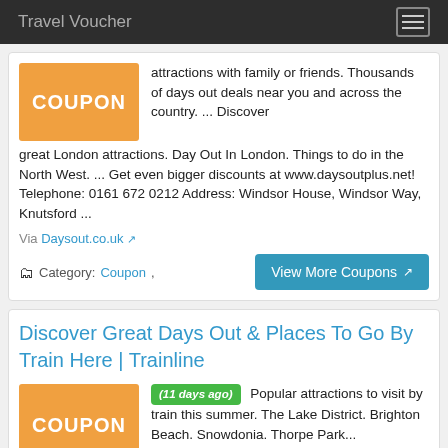Travel Voucher
attractions with family or friends. Thousands of days out deals near you and across the country. ... Discover great London attractions. Day Out In London. Things to do in the North West. ... Get even bigger discounts at www.daysoutplus.net! Telephone: 0161 672 0212 Address: Windsor House, Windsor Way, Knutsford ...
Via Daysout.co.uk
Category: Coupon,
View More Coupons
Discover Great Days Out & Places To Go By Train Here | Trainline
(11 days ago) Popular attractions to visit by train this summer. The Lake District. Brighton Beach. Snowdonia. Thorpe Park...